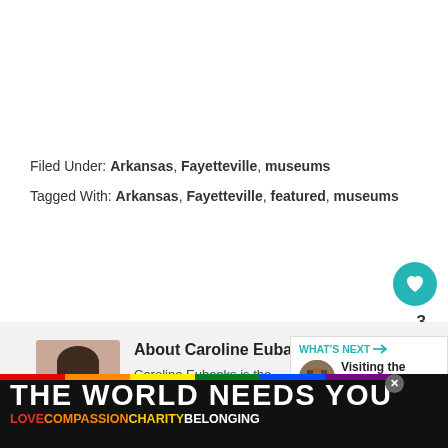Filed Under: Arkansas, Fayetteville, museums
Tagged With: Arkansas, Fayetteville, featured, museums
[Figure (other): Heart/like button (teal circle with heart icon) and share button with count 3]
[Figure (other): Author photo of Caroline Eubanks - woman with dark hair smiling, wearing pink top]
About Caroline Eubanks
Caroline Eubanks is the of this website, a Lowell
[Figure (other): What's Next panel with thumbnail and text: Visiting the Georgia...]
[Figure (other): reCAPTCHA logo box]
[Figure (other): Ad banner: THE WORLD NEEDS YOU with rainbow bar and text LOVE COMPASSION CHARITY BELONGING]